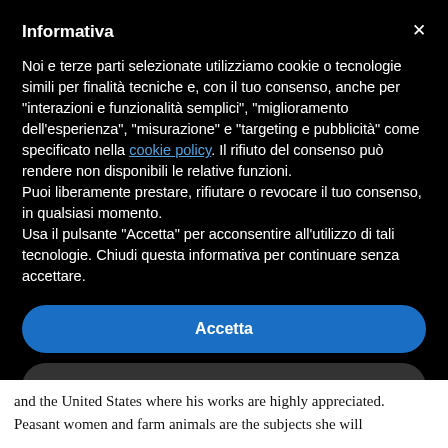Informativa
Noi e terze parti selezionate utilizziamo cookie o tecnologie simili per finalità tecniche e, con il tuo consenso, anche per “interazioni e funzionalità semplici”, “miglioramento dell’esperienza”, “misurazione” e “targeting e pubblicità” come specificato nella cookie policy. Il rifiuto del consenso può rendere non disponibili le relative funzioni.
Puoi liberamente prestare, rifiutare o revocare il tuo consenso, in qualsiasi momento.
Usa il pulsante “Accetta” per acconsentire all’utilizzo di tali tecnologie. Chiudi questa informativa per continuare senza accettare.
Accetta
Scopri di più e personalizza
and the United States where his works are highly appreciated. Peasant women and farm animals are the subjects she will